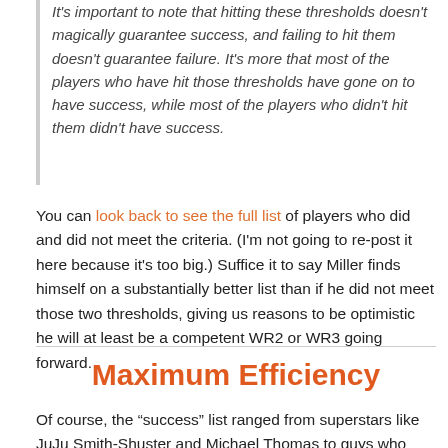It's important to note that hitting these thresholds doesn't magically guarantee success, and failing to hit them doesn't guarantee failure. It's more that most of the players who have hit those thresholds have gone on to have success, while most of the players who didn't hit them didn't have success.
You can look back to see the full list of players who did and did not meet the criteria. (I'm not going to re-post it here because it's too big.) Suffice it to say Miller finds himself on a substantially better list than if he did not meet those two thresholds, giving us reasons to be optimistic he will at least be a competent WR2 or WR3 going forward.
Maximum Efficiency
Of course, the “success” list ranged from superstars like JuJu Smith-Shuster and Michael Thomas to guys who